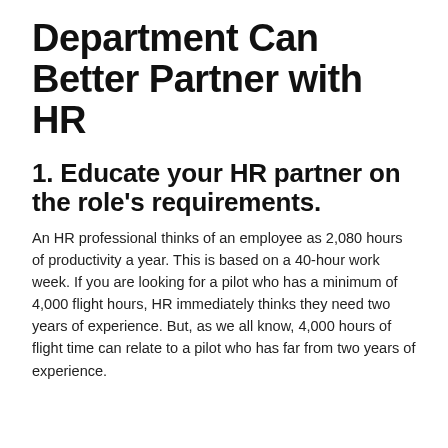Department Can Better Partner with HR
1. Educate your HR partner on the role’s requirements.
An HR professional thinks of an employee as 2,080 hours of productivity a year. This is based on a 40-hour work week. If you are looking for a pilot who has a minimum of 4,000 flight hours, HR immediately thinks they need two years of experience. But, as we all know, 4,000 hours of flight time can relate to a pilot who has far from two years of experience.